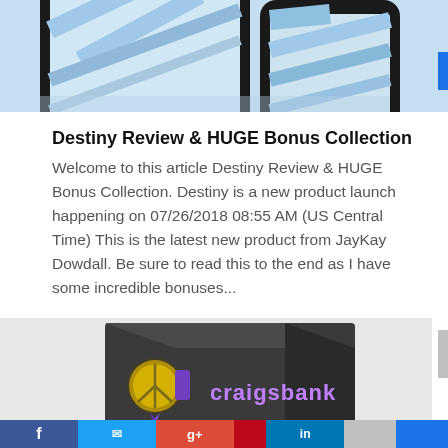[Figure (photo): Top portion showing tablet and smartphone devices against a light blue background, cropped at top]
Destiny Review & HUGE Bonus Collection
Welcome to this article Destiny Review & HUGE Bonus Collection. Destiny is a new product launch happening on 07/26/2018 08:55 AM (US Central Time) This is the latest new product from JayKay Dowdall. Be sure to read this to the end as I have some incredible bonuses...
[Figure (photo): Product box image for 'craigsbank' software, dark box with purple logo and text on gray background, partially visible]
[Figure (infographic): Social media sharing bar at bottom with Facebook, Twitter, Google+, Pinterest, LinkedIn, and other icons]